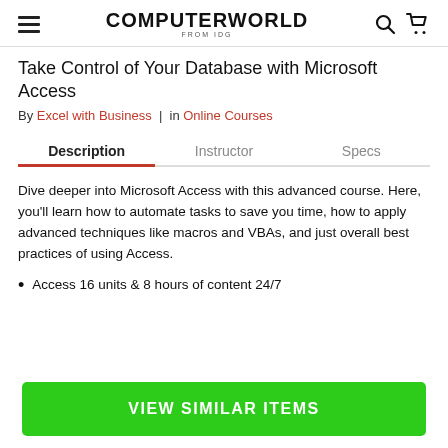COMPUTERWORLD FROM IDG
Take Control of Your Database with Microsoft Access
By Excel with Business | in Online Courses
Description | Instructor | Specs
Dive deeper into Microsoft Access with this advanced course. Here, you'll learn how to automate tasks to save you time, how to apply advanced techniques like macros and VBAs, and just overall best practices of using Access.
Access 16 units & 8 hours of content 24/7
VIEW SIMILAR ITEMS